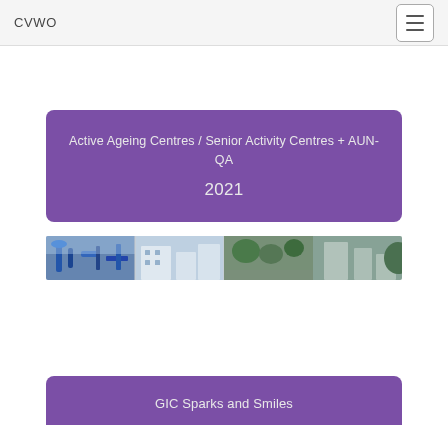CVWO
Active Ageing Centres / Senior Activity Centres + AUN-QA
2021
[Figure (photo): Horizontal photo strip showing outdoor senior activity centre equipment and facilities, with blue exercise machines and greenery visible]
GIC Sparks and Smiles